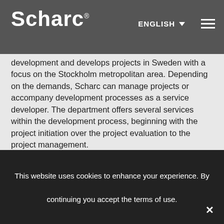Scharc — ENGLISH (navigation header)
development and develops projects in Sweden with a focus on the Stockholm metropolitan area. Depending on the demands, Scharc can manage projects or accompany development processes as a service developer. The department offers several services within the development process, beginning with the project initiation over the project evaluation to the project management.
We create a feasibility analysis at an early project stage to evaluate the chances and risks of the project and create the foundation for future decisions. Another
This website uses cookies to enhance your experience. By continuing you accept the terms of use.